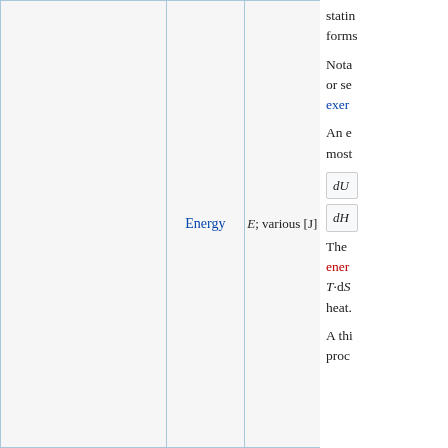|  | Energy | E; various [J] |
| --- | --- | --- |
|  | Energy | E; various [J] |
stating that energy can neither be created nor destroyed, only converted from one form to another.
Notably, in thermodynamics, the first law postulates that the total energy of an isolated system or series of systems is conserved. Notable examples of energetic processes include exergonic reactions and endergonic reactions.
An extensive survey of energy definitions concludes that the most commonly used definition is:
The most common modern definition of energy is the Hamiltonian formulation of thermodynamic energy, where the notion of energy is T·dS (reversible work) plus the non-pV work (or chemical potential), plus heat.
A thin membrane separating two regions of a thermodynamic process...